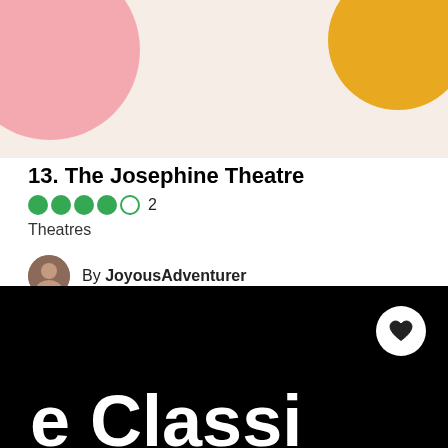[Figure (illustration): Decorative banner with pink circle top-left and gold/yellow circle top-right on beige background]
13. The Josephine Theatre
4 out of 5 circles rating, 2 reviews
Theatres
By JoyousAdventurer
Wonderful community theater. All appear to be volunteers. Great production and talent. The theater is older and quaint...
[Figure (photo): Black background section with heart/save button and partial white logo text at the bottom reading what appears to be 'Classic' or similar]